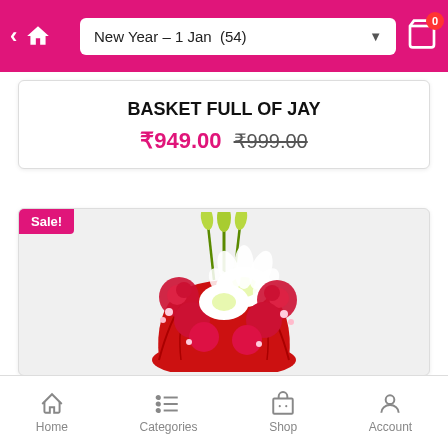New Year – 1 Jan (54)
BASKET FULL OF JAY
₹949.00 ₹999.00
[Figure (photo): A flower bouquet with white lilies and red carnations wrapped in red paper, labeled Sale!]
Home  Categories  Shop  Account